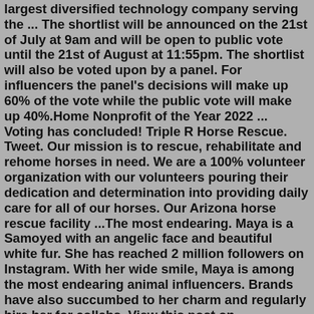largest diversified technology company serving the ... The shortlist will be announced on the 21st of July at 9am and will be open to public vote until the 21st of August at 11:55pm. The shortlist will also be voted upon by a panel. For influencers the panel's decisions will make up 60% of the vote while the public vote will make up 40%.Home Nonprofit of the Year 2022 ... Voting has concluded! Triple R Horse Rescue. Tweet. Our mission is to rescue, rehabilitate and rehome horses in need. We are a 100% volunteer organization with our volunteers pouring their dedication and determination into providing daily care for all of our horses. Our Arizona horse rescue facility ...The most endearing. Maya is a Samoyed with an angelic face and beautiful white fur. She has reached 2 million followers on Instagram. With her wide smile, Maya is among the most endearing animal influencers. Brands have also succumbed to her charm and regularly hire her for collabs. View this post on Instagram.Pet Store. Winner. Treats Unleashed: The store specializes in all-natural pet